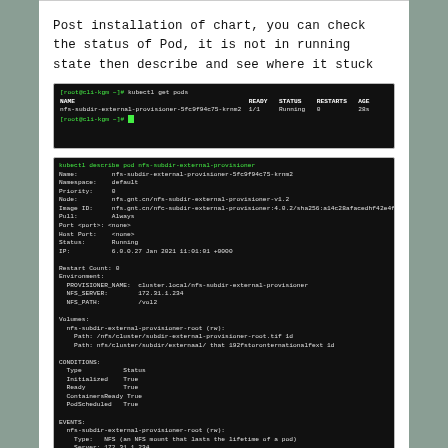Post installation of chart, you can check the status of Pod, it is not in running state then describe and see where it stuck
[Figure (screenshot): Terminal screenshot showing kubectl get pods command output with nfs-subdir-external-provisioner pod in Running state]
[Figure (screenshot): Terminal screenshot showing kubectl describe pod output for nfs-subdir-external-provisioner with detailed configuration and events]
Finally, Test Your Environment!
Now we'll test your NFS subdir external provisioner by creating a persistent volume claim and a pod that writes